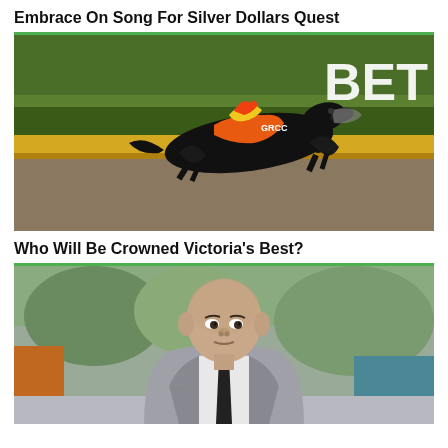Embrace On Song For Silver Dollars Quest
[Figure (photo): A black greyhound racing dog in full stride wearing a colourful racing jacket, on a greyhound racing track with yellow barriers and green grass in background. White text 'BET' partially visible top right.]
Who Will Be Crowned Victoria's Best?
[Figure (photo): A bald man in a grey suit with a black tie, looking to the left, photographed outdoors at what appears to be a racing or sporting venue.]